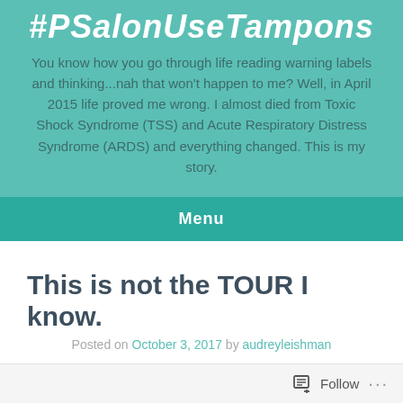#PSalonUseTampons
You know how you go through life reading warning labels and thinking...nah that won't happen to me? Well, in April 2015 life proved me wrong. I almost died from Toxic Shock Syndrome (TSS) and Acute Respiratory Distress Syndrome (ARDS) and everything changed. This is my story.
Menu
This is not the TOUR I know.
Posted on October 3, 2017 by audreyleishman
NOTE: I have tried to be overwhelmingly positive in the way I share my heart. Today may come across differently...